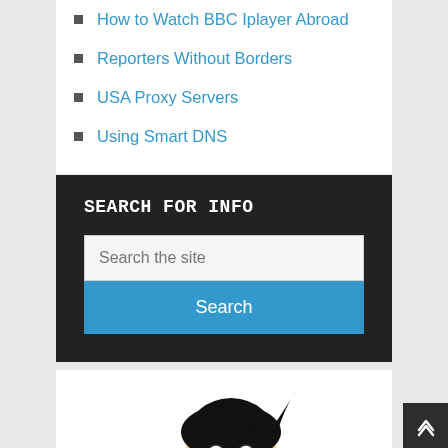How to Watch BBC Iplayer Abroad
Reporters Without Borders
USA Proxy Servers
Using Smart DNS
SEARCH FOR INFO
Search the site
Search
[Figure (illustration): Cartoon character with black hair, appears to be partially visible at bottom of page]